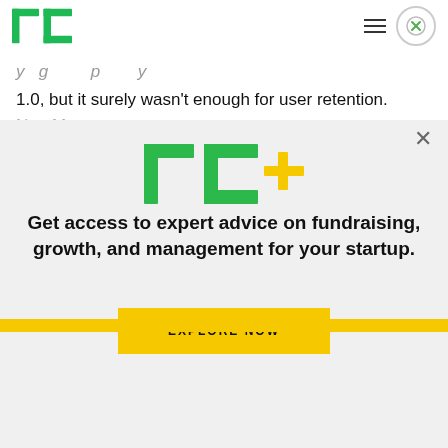TechCrunch logo, hamburger menu, close button
1.0, but it surely wasn't enough for user retention.
[Figure (logo): TC+ logo in green with orange plus sign]
Get access to expert advice on fundraising, growth, and management for your startup.
EXPLORE NOW